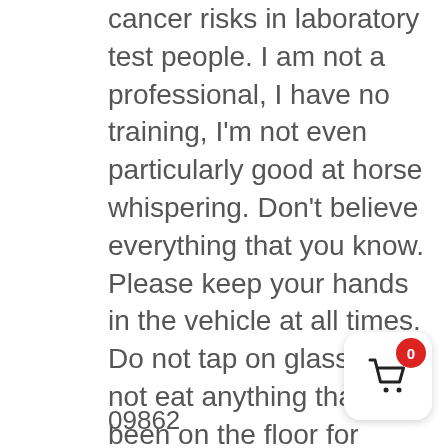cancer risks in laboratory test people. I am not a professional, I have no training, I'm not even particularly good at horse whispering. Don't believe everything that you know. Please keep your hands in the vehicle at all times. Do not tap on glass. Do not eat anything that has been on the floor for more than 3 days. Keep your hands to yourself. Not to be taken internally. Reproduction strictly prohibited. Driver does not carry cash. Objects in Bleepinjeep mirrors may be farther than they appear.*
09862
[Figure (illustration): Shopping cart icon button with red badge showing 0]